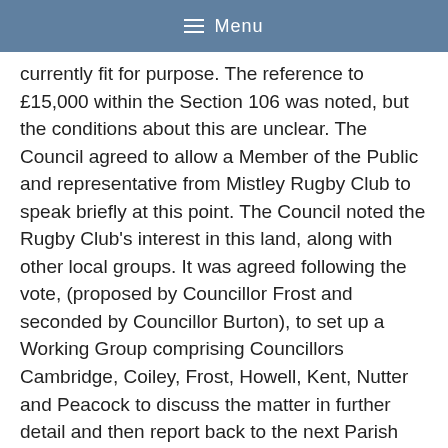Menu
currently fit for purpose. The reference to £15,000 within the Section 106 was noted, but the conditions about this are unclear. The Council agreed to allow a Member of the Public and representative from Mistley Rugby Club to speak briefly at this point. The Council noted the Rugby Club's interest in this land, along with other local groups. It was agreed following the vote, (proposed by Councillor Frost and seconded by Councillor Burton), to set up a Working Group comprising Councillors Cambridge, Coiley, Frost, Howell, Kent, Nutter and Peacock to discuss the matter in further detail and then report back to the next Parish Council Meeting.
Two Members of the Public left the Meeting at